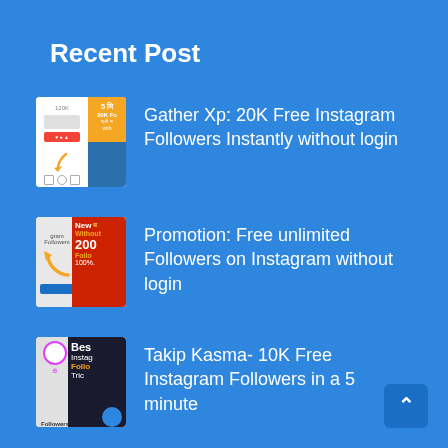Recent Post
[Figure (screenshot): Thumbnail image for Instagram followers post 1]
Gather Xp: 20K Free Instagram Followers Instantly without login
[Figure (screenshot): Thumbnail image for Instagram followers post 2]
Promotion: Free unlimited Followers on Instagram without login
[Figure (screenshot): Thumbnail image for Instagram followers post 3]
Takip Kasma- 10K Free Instagram Followers in a 5 minute